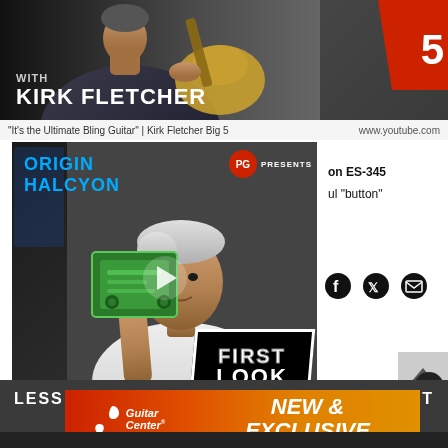[Figure (screenshot): Screenshot of a webpage showing a YouTube video thumbnail of Kirk Fletcher playing guitar, with a 'Big 5' red badge. Text overlay reads 'WITH KIRK FLETCHER'. Below is a Premier Guitar 'First Look' video thumbnail for Origin Halcyon pedal. A Guitar Center 'NEW & EXCLUSIVE' banner ad is at the bottom. Social sharing icons (Facebook, Twitter, Email) are visible. Text beside video reads 'on ES-345' and 'ul "button"'.]